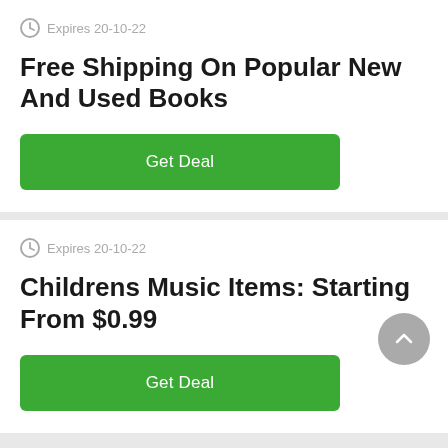Expires 20-10-22
Free Shipping On Popular New And Used Books
Get Deal
Expires 20-10-22
Childrens Music Items: Starting From $0.99
Get Deal